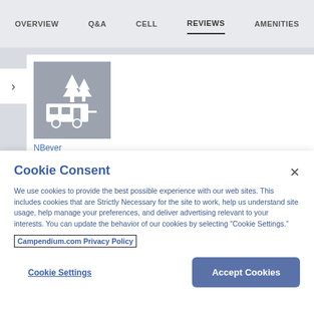OVERVIEW  Q&A  CELL  REVIEWS  AMENITIES
[Figure (illustration): RV/camper with trees icon on grey background, user avatar placeholder]
NBeyer
Cookie Consent
We use cookies to provide the best possible experience with our web sites. This includes cookies that are Strictly Necessary for the site to work, help us understand site usage, help manage your preferences, and deliver advertising relevant to your interests. You can update the behavior of our cookies by selecting “Cookie Settings.”
Campendium.com Privacy Policy
Cookie Settings
Accept Cookies